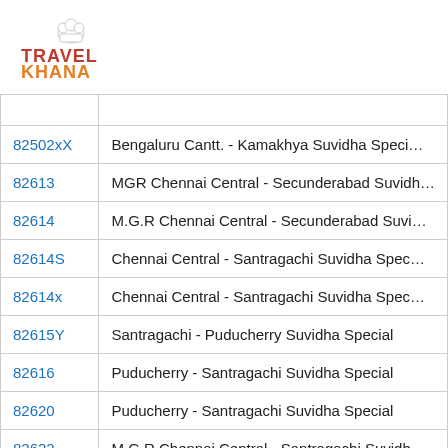[Figure (logo): Travel Khana logo with chef hat icon, red TRAVEL text and orange KHANA text with orange dots underline]
|  |  |
| 82502xX | Bengaluru Cantt. - Kamakhya Suvidha Speci... |
| 82613 | MGR Chennai Central - Secunderabad Suvidh... |
| 82614 | M.G.R Chennai Central - Secunderabad Suvi... |
| 82614S | Chennai Central - Santragachi Suvidha Spec... |
| 82614x | Chennai Central - Santragachi Suvidha Spec... |
| 82615Y | Santragachi - Puducherry Suvidha Special |
| 82616 | Puducherry - Santragachi Suvidha Special |
| 82620 | Puducherry - Santragachi Suvidha Special |
| 82622 | M.G.R Chennai Central - Santragachi Suvidh... |
| 82642 | Kochuveli - Guwahati Suvidha Special |